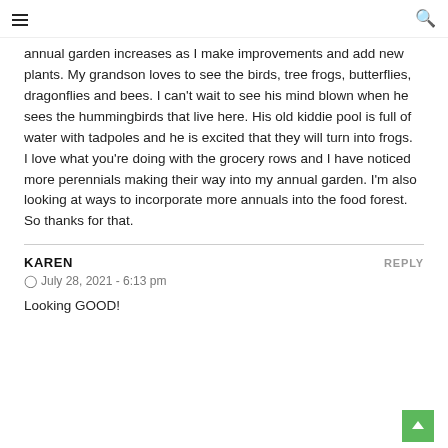≡  🔍
annual garden increases as I make improvements and add new plants. My grandson loves to see the birds, tree frogs, butterflies, dragonflies and bees. I can't wait to see his mind blown when he sees the hummingbirds that live here. His old kiddie pool is full of water with tadpoles and he is excited that they will turn into frogs.
I love what you're doing with the grocery rows and I have noticed more perennials making their way into my annual garden. I'm also looking at ways to incorporate more annuals into the food forest. So thanks for that.
KAREN   REPLY
© July 28, 2021 - 6:13 pm
Looking GOOD!